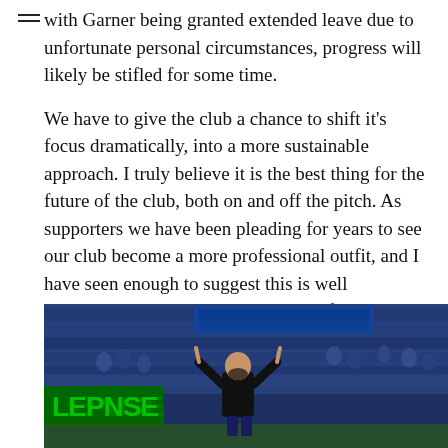with Garner being granted extended leave due to unfortunate personal circumstances, progress will likely be stifled for some time.

We have to give the club a chance to shift it's focus dramatically, into a more sustainable approach. I truly believe it is the best thing for the future of the club, both on and off the pitch. As supporters we have been pleading for years to see our club become a more professional outfit, and I have seen enough to suggest this is well underway. It's time to bring this new-found professionalism onto the pitch. And over time, I believe we will see the progress we are all so desperate for – but we will need to be patient.
[Figure (photo): A football manager or coach in a black jacket stands on the touchline with arms raised, gesturing with both index fingers raised. A large crowd fills the stands behind him, with blue and white colors. A green advertising board is visible on the left.]